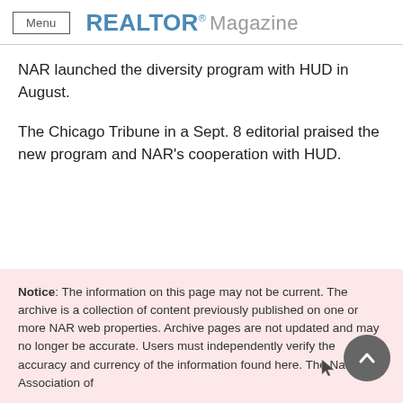Menu  REALTOR® Magazine
NAR launched the diversity program with HUD in August.
The Chicago Tribune in a Sept. 8 editorial praised the new program and NAR's cooperation with HUD.
Notice: The information on this page may not be current. The archive is a collection of content previously published on one or more NAR web properties. Archive pages are not updated and may no longer be accurate. Users must independently verify the accuracy and currency of the information found here. The National Association of